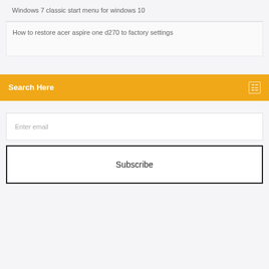Windows 7 classic start menu for windows 10
How to restore acer aspire one d270 to factory settings
Search Here
Enter email
Subscribe